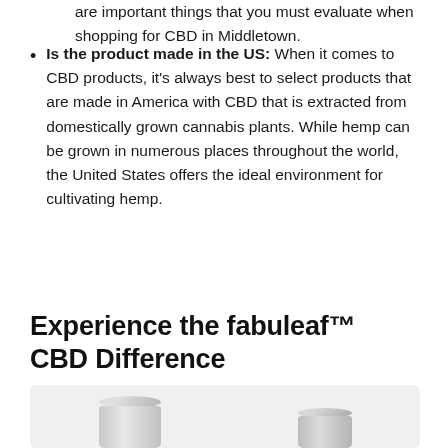are important things that you must evaluate when shopping for CBD in Middletown.
Is the product made in the US: When it comes to CBD products, it's always best to select products that are made in America with CBD that is extracted from domestically grown cannabis plants. While hemp can be grown in numerous places throughout the world, the United States offers the ideal environment for cultivating hemp.
Experience the fabuleaf™ CBD Difference
[Figure (photo): Two silver cylindrical CBD product containers on a light grey background]